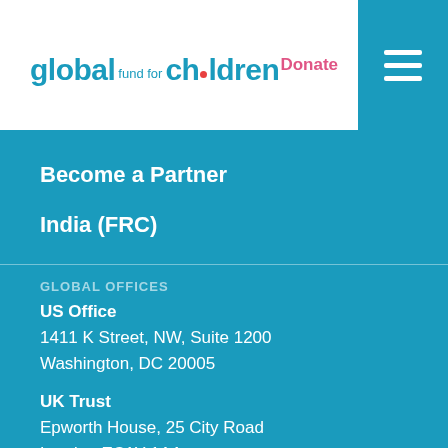[Figure (logo): Global Fund for Children logo with teal/blue text and red dot above letter i in 'children']
Donate
Become a Partner
India (FRC)
GLOBAL OFFICES
US Office
1411 K Street, NW, Suite 1200
Washington, DC 20005
UK Trust
Epworth House, 25 City Road
London EC1Y 1AA
STAY CONNECTED